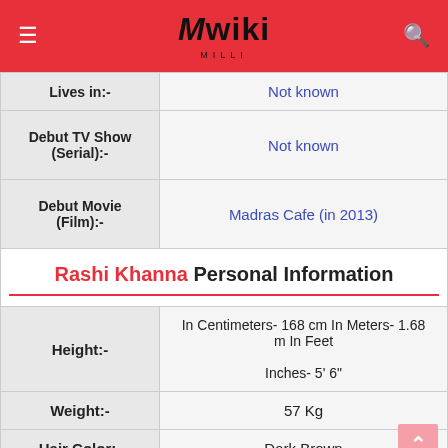Mwiki
| Field | Value |
| --- | --- |
| Lives in:- | Not known |
| Debut TV Show (Serial):- | Not known |
| Debut Movie (Film):- | Madras Cafe (in 2013) |
| Rashi Khanna Personal Information |  |
| Height:- | In Centimeters- 168 cm In Meters- 1.68 m In Feet Inches- 5' 6" |
| Weight:- | 57 Kg |
| Hair Color:- | Dark Brown |
| Eye Color:- | Black |